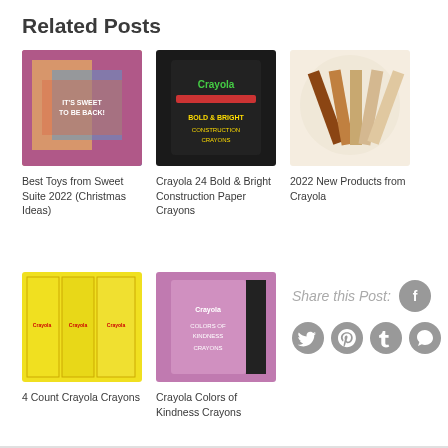Related Posts
[Figure (photo): Thumbnail image of Sweet Suite 2022 post showing colorful event display with 'It's Sweet to Be Back!' sign]
Best Toys from Sweet Suite 2022 (Christmas Ideas)
[Figure (photo): Thumbnail image of Crayola 24 Bold & Bright Construction Paper Crayons box on dark background]
Crayola 24 Bold & Bright Construction Paper Crayons
[Figure (photo): Thumbnail image of 2022 New Products from Crayola showing fan of colorful paper/cards]
2022 New Products from Crayola
[Figure (photo): Thumbnail image of 4 Count Crayola Crayons showing multiple yellow crayon boxes]
4 Count Crayola Crayons
[Figure (photo): Thumbnail image of Crayola Colors of Kindness Crayons on purple/pink background]
Crayola Colors of Kindness Crayons
Share this Post: